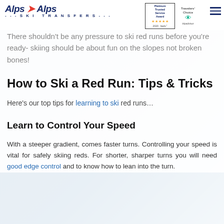Alps 2 Alps SKI TRANSFERS
There shouldn't be any pressure to ski red runs before you're ready- skiing should be about fun on the slopes not broken bones!
How to Ski a Red Run: Tips & Tricks
Here's our top tips for learning to ski red runs…
Learn to Control Your Speed
With a steeper gradient, comes faster turns. Controlling your speed is vital for safely skiing reds. For shorter, sharper turns you will need good edge control and to know how to lean into the turn.